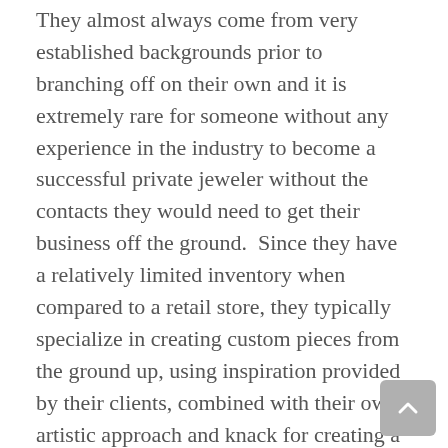They almost always come from very established backgrounds prior to branching off on their own and it is extremely rare for someone without any experience in the industry to become a successful private jeweler without the contacts they would need to get their business off the ground.  Since they have a relatively limited inventory when compared to a retail store, they typically specialize in creating custom pieces from the ground up, using inspiration provided by their clients, combined with their own artistic approach and knack for creating a functional design.  This could, however, act as a potential drawback for some who prefer to see and feel the end product before